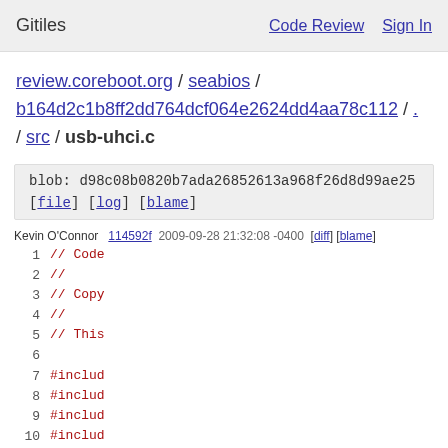Gitiles   Code Review   Sign In
review.coreboot.org / seabios / b164d2c1b8ff2dd764dcf064e2624dd4aa78c112 / . / src / usb-uhci.c
blob: d98c08b0820b7ada26852613a968f26d8d99ae25
[file] [log] [blame]
Kevin O'Connor  114592f  2009-09-28 21:32:08 -0400  [diff] [blame]
[Figure (screenshot): Source code viewer showing line numbers 1-12 with red code text beginning with // Code comments and #include directives]